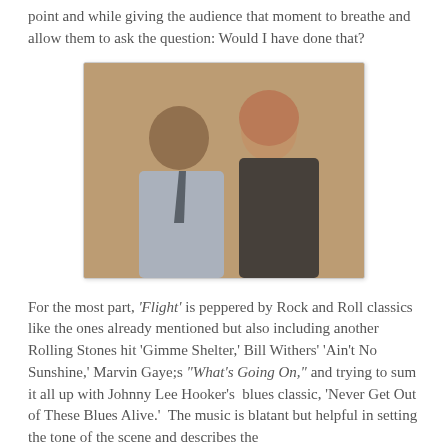point and while giving the audience that moment to breathe and allow them to ask the question:  Would I have done that?
[Figure (photo): Two actors in a scene from the film 'Flight' — a man in a blue shirt and tie facing a woman with red hair in a dark top, sitting close together indoors.]
For the most part, 'Flight' is peppered by Rock and Roll classics like the ones already mentioned but also including another Rolling Stones hit 'Gimme Shelter,' Bill Withers' 'Ain't No Sunshine,' Marvin Gaye;s "What's Going On," and trying to sum it all up with Johnny Lee Hooker's  blues classic, 'Never Get Out of These Blues Alive.'  The music is blatant but helpful in setting the tone of the scene and describes the